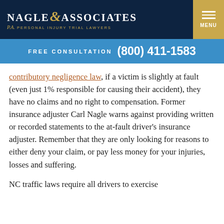NAGLE & ASSOCIATES P.A. PERSONAL INJURY TRIAL LAWYERS
FREE CONSULTATION (800) 411-1583
contributory negligence law, if a victim is slightly at fault (even just 1% responsible for causing their accident), they have no claims and no right to compensation. Former insurance adjuster Carl Nagle warns against providing written or recorded statements to the at-fault driver's insurance adjuster. Remember that they are only looking for reasons to either deny your claim, or pay less money for your injuries, losses and suffering.
NC traffic laws require all drivers to exercise